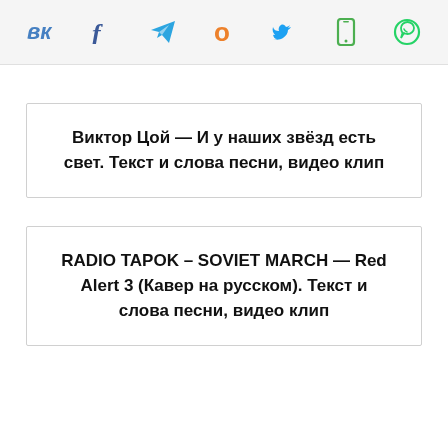Social share icons: VK, Facebook, Telegram, Odnoklassniki, Twitter, Mobile, WhatsApp
Виктор Цой — И у наших звёзд есть свет. Текст и слова песни, видео клип
RADIO TAPOK – SOVIET MARCH — Red Alert 3 (Кавер на русском). Текст и слова песни, видео клип